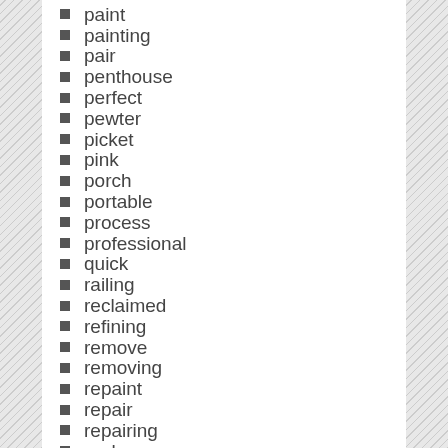paint
painting
pair
penthouse
perfect
pewter
picket
pink
porch
portable
process
professional
quick
railing
reclaimed
refining
remove
removing
repaint
repair
repairing
replace